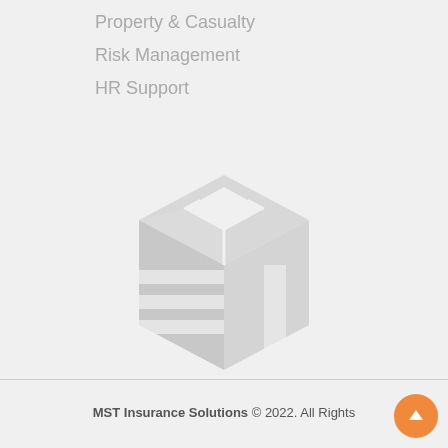Property & Casualty
Risk Management
HR Support
[Figure (logo): MST Insurance Solutions watermark logo — a cube/box shape made of layered horizontal bands with an 'M' shape on top, rendered in light gray as a background watermark]
MST Insurance Solutions © 2022. All Rights